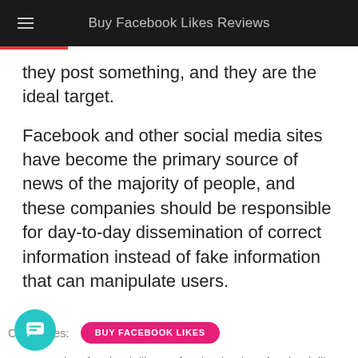Buy Facebook Likes Reviews
they post something, and they are the ideal target.
Facebook and other social media sites have become the primary source of news of the majority of people, and these companies should be responsible for day-to-day dissemination of correct information instead of fake information that can manipulate users.
Categories: BUY FACEBOOK LIKES
buy facebook likes   facebook ads   facebook likes